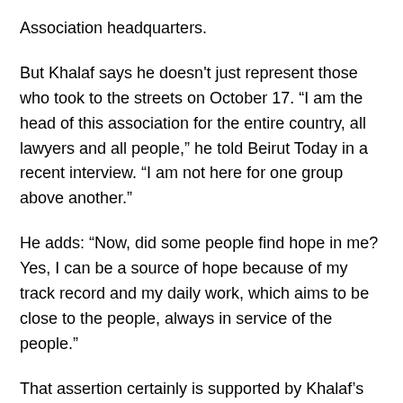Association headquarters.
But Khalaf says he doesn't just represent those who took to the streets on October 17. “I am the head of this association for the entire country, all lawyers and all people,” he told Beirut Today in a recent interview. “I am not here for one group above another.”
He adds: “Now, did some people find hope in me? Yes, I can be a source of hope because of my track record and my daily work, which aims to be close to the people, always in service of the people.”
That assertion certainly is supported by Khalaf’s record.
He studied law at St. Joseph University and volunteered with the Red Cross during Lebanon’s Civil War (1975-90), helping